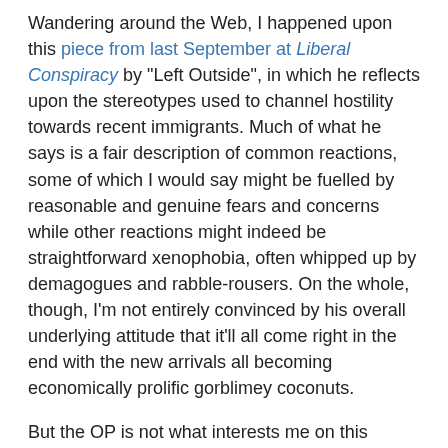Wandering around the Web, I happened upon this piece from last September at Liberal Conspiracy by "Left Outside", in which he reflects upon the stereotypes used to channel hostility towards recent immigrants. Much of what he says is a fair description of common reactions, some of which I would say might be fuelled by reasonable and genuine fears and concerns while other reactions might indeed be straightforward xenophobia, often whipped up by demagogues and rabble-rousers. On the whole, though, I'm not entirely convinced by his overall underlying attitude that it'll all come right in the end with the new arrivals all becoming economically prolific gorblimey coconuts.
But the OP is not what interests me on this occasion. Rather this comment from "Donut Hinge Party", (whose writing style, restrained enough here but more commonly startlingly and vacuously abusive, sounds very much like the tedious and smug Daniel Hoffman-Gill, a regular commenter at LC, but that's a conspiracy theory for another day). Responding to another commenter who had alluded to the UK's disproportionately numerous non-White prison population,